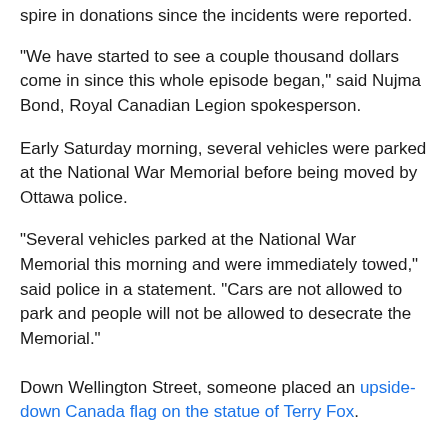spire in donations since the incidents were reported.
"We have started to see a couple thousand dollars come in since this whole episode began," said Nujma Bond, Royal Canadian Legion spokesperson.
Early Saturday morning, several vehicles were parked at the National War Memorial before being moved by Ottawa police.
"Several vehicles parked at the National War Memorial this morning and were immediately towed," said police in a statement. "Cars are not allowed to park and people will not be allowed to desecrate the Memorial."
Down Wellington Street, someone placed an upside-down Canada flag on the statue of Terry Fox.
"I thought it was reprehensible that people were putting anti-mask signs and upside down Canadian flags at the Terry Fox statue," said Mayor Jim Watson during an